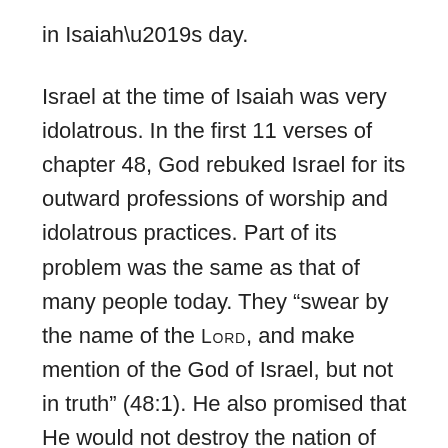in Isaiah’s day.
Israel at the time of Isaiah was very idolatrous. In the first 11 verses of chapter 48, God rebuked Israel for its outward professions of worship and idolatrous practices. Part of its problem was the same as that of many people today. They “swear by the name of the LORD, and make mention of the God of Israel, but not in truth” (48:1). He also promised that He would not destroy the nation of Israel but would preserve it for His name’s sake.
Then God addressed the people of Israel. He